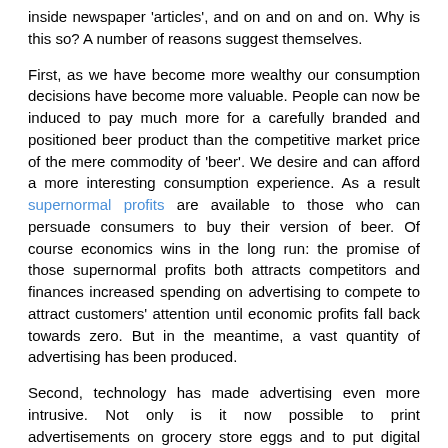inside newspaper 'articles', and on and on and on. Why is this so? A number of reasons suggest themselves.
First, as we have become more wealthy our consumption decisions have become more valuable. People can now be induced to pay much more for a carefully branded and positioned beer product than the competitive market price of the mere commodity of 'beer'. We desire and can afford a more interesting consumption experience. As a result supernormal profits are available to those who can persuade consumers to buy their version of beer. Of course economics wins in the long run: the promise of those supernormal profits both attracts competitors and finances increased spending on advertising to compete to attract customers' attention until economic profits fall back towards zero. But in the meantime, a vast quantity of advertising has been produced.
Second, technology has made advertising even more intrusive. Not only is it now possible to print advertisements on grocery store eggs and to put digital displays above pub urinals. The digital age has added an extra level of